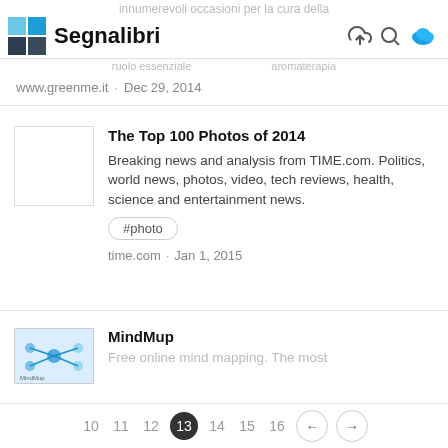Segnalibri
innumerevoli occasioni per la cura della
www.greenme.it · Dec 29, 2014
The Top 100 Photos of 2014
Breaking news and analysis from TIME.com. Politics, world news, photos, video, tech reviews, health, science and entertainment news.
#photo
time.com · Jan 1, 2015
MindMup
Free online mind mapping. The most
10  11  12  13  14  15  16  ←  →